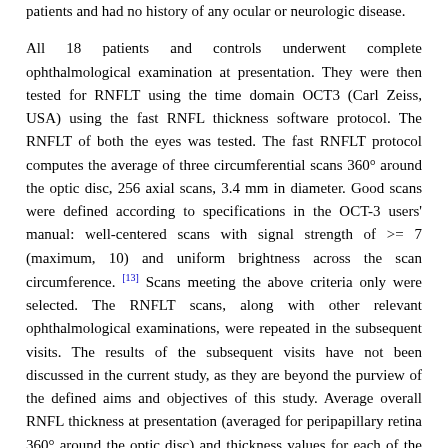patients and had no history of any ocular or neurologic disease.
All 18 patients and controls underwent complete ophthalmological examination at presentation. They were then tested for RNFLT using the time domain OCT3 (Carl Zeiss, USA) using the fast RNFL thickness software protocol. The RNFLT of both the eyes was tested. The fast RNFLT protocol computes the average of three circumferential scans 360° around the optic disc, 256 axial scans, 3.4 mm in diameter. Good scans were defined according to specifications in the OCT-3 users' manual: well-centered scans with signal strength of >= 7 (maximum, 10) and uniform brightness across the scan circumference. [13] Scans meeting the above criteria only were selected. The RNFLT scans, along with other relevant ophthalmological examinations, were repeated in the subsequent visits. The results of the subsequent visits have not been discussed in the current study, as they are beyond the purview of the defined aims and objectives of this study. Average overall RNFL thickness at presentation (averaged for peripapillary retina 360° around the optic disc) and thickness values for each of the four quadrants (temporal, superior, nasal, and inferior) were recorded from the OCT printouts:
for eyes with ON (ON eyes);
fellow eyes of ON patients (non-ON eyes);